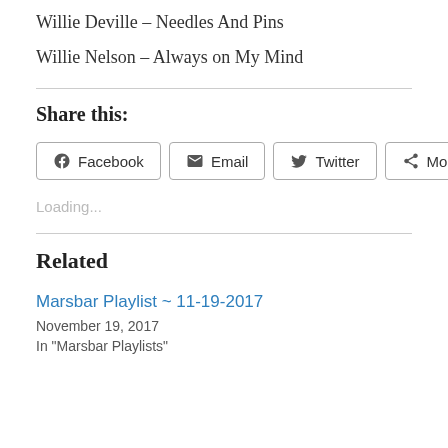Willie Deville – Needles And Pins
Willie Nelson – Always on My Mind
Share this:
Facebook  Email  Twitter  More
Loading...
Related
Marsbar Playlist ~ 11-19-2017
November 19, 2017
In "Marsbar Playlists"